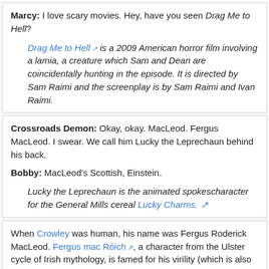Marcy: I love scary movies. Hey, have you seen Drag Me to Hell?
Drag Me to Hell is a 2009 American horror film involving a lamia, a creature which Sam and Dean are coincidentally hunting in the episode. It is directed by Sam Raimi and the screenplay is by Sam Raimi and Ivan Raimi.
Crossroads Demon: Okay, okay. MacLeod. Fergus MacLeod. I swear. We call him Lucky the Leprechaun behind his back.
Bobby: MacLeod's Scottish, Einstein.
Lucky the Leprechaun is the animated spokescharacter for the General Mills cereal Lucky Charms.
When Crowley was human, his name was Fergus Roderick MacLeod. Fergus mac Róich, a character from the Ulster cycle of Irish mythology, is famed for his virility (which is also the meaning of the name 'Fergus') and for the size of his penis. MacLeod is the family name of Christopher Lambert's character